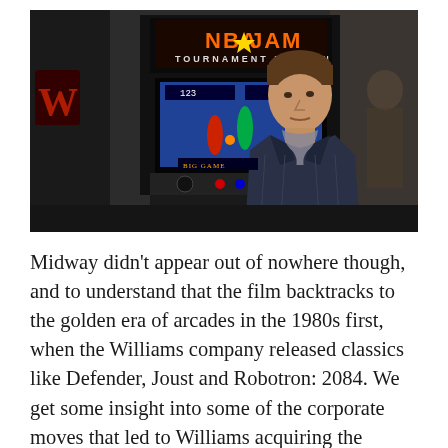[Figure (photo): A man standing in front of an NBA JAM Tournament Edition arcade cabinet. The man is wearing a dark jacket with a scarf. The arcade machine is visible in the background with the NBA JAM Tournament Edition logo lit up in orange and yellow text.]
Midway didn't appear out of nowhere though, and to understand that the film backtracks to the golden era of arcades in the 1980s first, when the Williams company released classics like Defender, Joust and Robotron: 2084. We get some insight into some of the corporate moves that led to Williams acquiring the